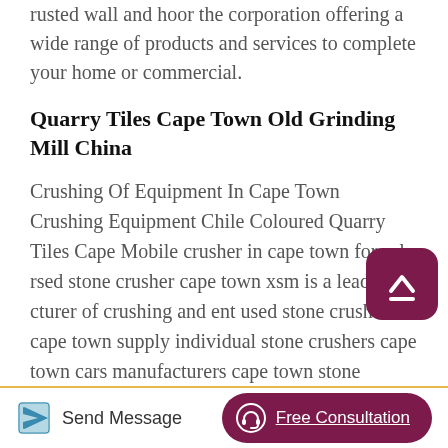rusted wall and hoor the corporation offering a wide range of products and services to complete your home or commercial.
Quarry Tiles Cape Town Old Grinding Mill China
Crushing Of Equipment In Cape Town Crushing Equipment Chile Coloured Quarry Tiles Cape Mobile crusher in cape town for sale rsed stone crusher cape town xsm is a leading cturer of crushing and ent used stone crusher cape town supply individual stone crushers cape town cars manufacturers cape town stone crusher for .Quarry crusher tiles manufacturer uae - YouTube Aug 9, 2014 Shibboleth - quarry companies in china
Send Message  Free Consultation